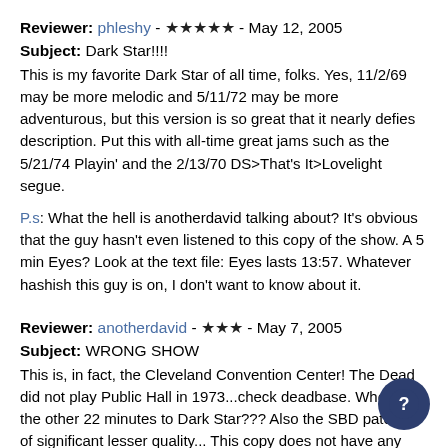Reviewer: phleshy - ★★★★★ - May 12, 2005
Subject: Dark Star!!!!
This is my favorite Dark Star of all time, folks. Yes, 11/2/69 may be more melodic and 5/11/72 may be more adventurous, but this version is so great that it nearly defies description. Put this with all-time great jams such as the 5/21/74 Playin' and the 2/13/70 DS>That's It>Lovelight segue.
P.s: What the hell is anotherdavid talking about? It's obvious that the guy hasn't even listened to this copy of the show. A 5 min Eyes? Look at the text file: Eyes lasts 13:57. Whatever hashish this guy is on, I don't want to know about it.
Reviewer: anotherdavid - ★★★ - May 7, 2005
Subject: WRONG SHOW
This is, in fact, the Cleveland Convention Center! The Dead did not play Public Hall in 1973...check deadbase. Where's the other 22 minutes to Dark Star??? Also the SBD patch is of significant lesser quality... This copy does not have any verses in DS. Eyes is also chopped down to 5 min. I used to have a old SBD boot of this show and the DS filled one side!!! Please some one either correct me or this show because it was